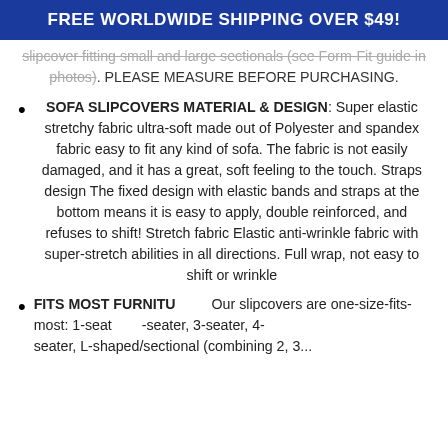FREE WORLDWIDE SHIPPING OVER $49!
slipcover fitting small and large sectionals (see Form-Fit guide in photos). PLEASE MEASURE BEFORE PURCHASING.
SOFA SLIPCOVERS MATERIAL & DESIGN: Super elastic stretchy fabric ultra-soft made out of Polyester and spandex fabric easy to fit any kind of sofa. The fabric is not easily damaged, and it has a great, soft feeling to the touch. Straps design The fixed design with elastic bands and straps at the bottom means it is easy to apply, double reinforced, and refuses to shift! Stretch fabric Elastic anti-wrinkle fabric with super-stretch abilities in all directions. Full wrap, not easy to shift or wrinkle
FITS MOST FURNITURE: Our slipcovers are one-size-fits-most: 1-seat, 2-seater, 3-seater, 4-seater, L-shaped/sectional (combining 2, 3...